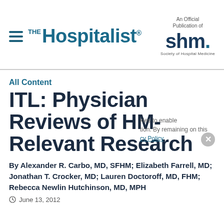[Figure (logo): The Hospitalist magazine logo with hamburger menu icon on left and SHM Society of Hospital Medicine logo on right]
All Content
ITL: Physician Reviews of HM-Relevant Research
By Alexander R. Carbo, MD, SFHM; Elizabeth Farrell, MD; Jonathan T. Crocker, MD; Lauren Doctoroff, MD, FHM; Rebecca Newlin Hutchinson, MD, MPH
June 13, 2012